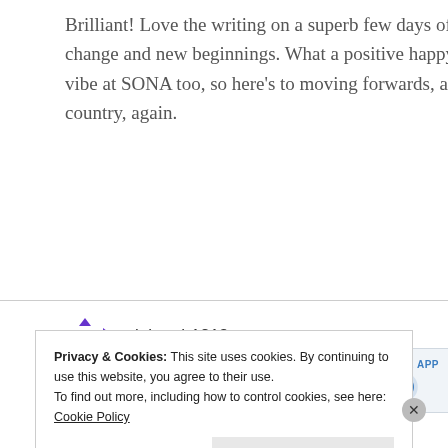Brilliant! Love the writing on a superb few days of change and new beginnings. What a positive happy vibe at SONA too, so here's to moving forwards, as a country, again.
Reply
Advertisements
[Figure (screenshot): Advertisement banner: 'Build a writing habit.' with 'GET THE APP' and WordPress logo icon]
jabrush1213
Privacy & Cookies: This site uses cookies. By continuing to use this website, you agree to their use.
To find out more, including how to control cookies, see here: Cookie Policy
Close and accept